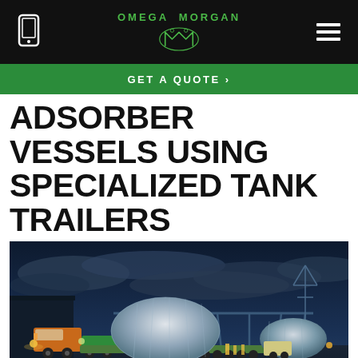OMEGA MORGAN
GET A QUOTE >
ADSORBER VESSELS USING SPECIALIZED TANK TRAILERS
[Figure (photo): Night photograph of heavy haul trucks transporting large wrapped adsorber vessels on specialized tank trailers, parked under a bridge structure with dramatic cloudy sky and industrial lighting.]